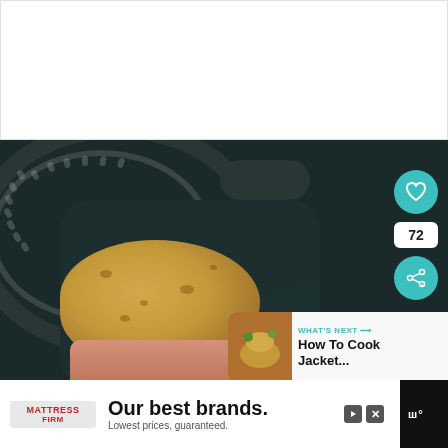[Figure (photo): White empty space / placeholder area at the top of the page]
[Figure (photo): Photo of a hand holding a raw potato in front of an air fryer basket and body on a dark counter. Social media UI overlays: heart/like button (teal circle), count '72', share button (teal circle), and a 'WHAT'S NEXT' card reading 'How To Cook Jacket...' with a thumbnail.]
[Figure (photo): Advertisement banner: Mattress Firm logo on the left, text 'Our best brands. Lowest prices, guaranteed.' in center, ad controls on right, and a watermark logo on far right.]